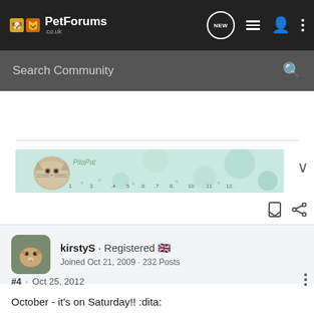PetForums .co.uk
Search Community
[Figure (illustration): PitaPat decorative banner with a cat illustration and numbered scale on a light blue/mint background with circular patterns]
kirstyS · Registered 🇬🇧
Joined Oct 21, 2009 · 232 Posts
#4 · Oct 25, 2012
October - it's on Saturday!! :dita: